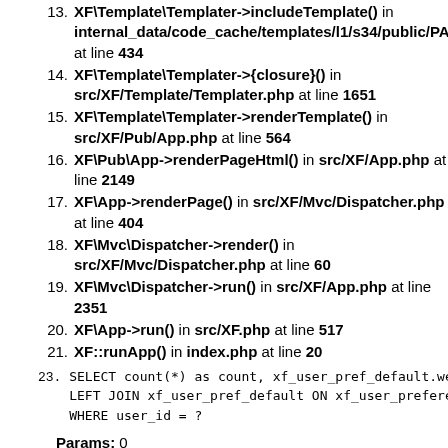13. XF\Template\Templater->includeTemplate() in internal_data/code_cache/templates/l1/s34/public/PA at line 434
14. XF\Template\Templater->{closure}() in src/XF/Template/Templater.php at line 1651
15. XF\Template\Templater->renderTemplate() in src/XF/Pub/App.php at line 564
16. XF\Pub\App->renderPageHtml() in src/XF/App.php at line 2149
17. XF\App->renderPage() in src/XF/Mvc/Dispatcher.php at line 404
18. XF\Mvc\Dispatcher->render() in src/XF/Mvc/Dispatcher.php at line 60
19. XF\Mvc\Dispatcher->run() in src/XF/App.php at line 2351
20. XF\App->run() in src/XF.php at line 517
21. XF::runApp() in index.php at line 20
23. SELECT count(*) as count, xf_user_pref_default.week LEFT JOIN xf_user_pref_default ON xf_user_preference WHERE user_id = ?
Params: 0
Run Time: 0.000148
| Select Type | Table | Type | Possible Keys | Key | Key Len | Ref | Rows | Extra |
| --- | --- | --- | --- | --- | --- | --- | --- | --- |